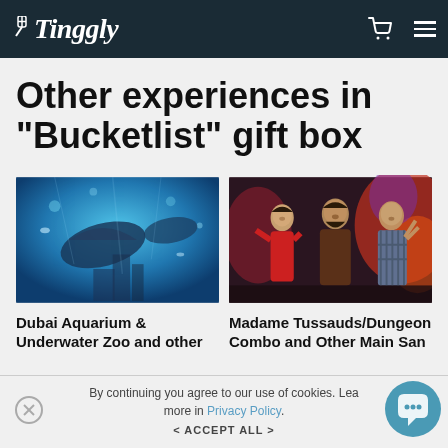Tinggly
Other experiences in "Bucketlist" gift box
[Figure (photo): Underwater aquarium scene with manta rays and fish viewed through glass]
[Figure (photo): Three people posing together smiling at a Madame Tussauds/Dungeon attraction with colorful backdrop]
Dubai Aquarium & Underwater Zoo and other
Madame Tussauds/Dungeon Combo and Other Main San
By continuing you agree to our use of cookies. Learn more in Privacy Policy.
< ACCEPT ALL >